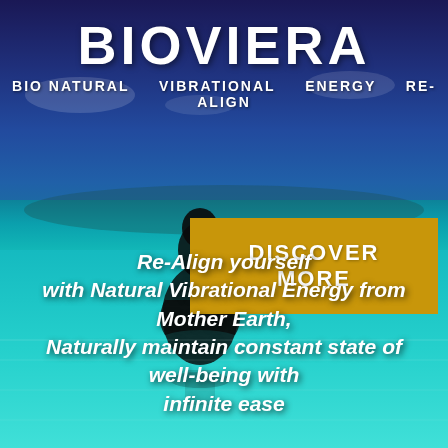[Figure (photo): Background photo of a woman sitting in meditation pose at an infinity pool overlooking the ocean, with a deep blue sky and turquoise water.]
BIOVIERA
BIO NATURAL   VIBRATIONAL   ENERGY   RE-ALIGN
DISCOVER MORE
Re-Align yourself with Natural Vibrational Energy from Mother Earth, Naturally maintain constant state of well-being with infinite ease